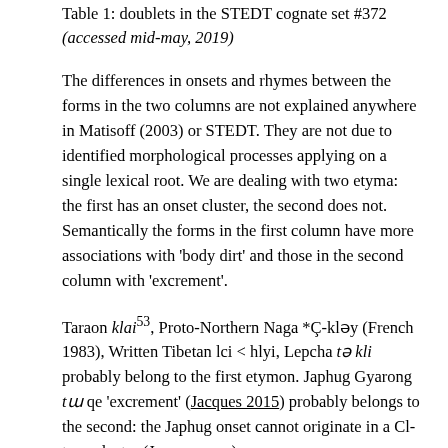Table 1: doublets in the STEDT cognate set #372 (accessed mid-may, 2019)
The differences in onsets and rhymes between the forms in the two columns are not explained anywhere in Matisoff (2003) or STEDT. They are not due to identified morphological processes applying on a single lexical root. We are dealing with two etyma: the first has an onset cluster, the second does not. Semantically the forms in the first column have more associations with 'body dirt' and those in the second column with 'excrement'.
Taraon klai53, Proto-Northern Naga *Ç-kləy (French 1983), Written Tibetan lci < hlyi, Lepcha tə kli probably belong to the first etymon. Japhug Gyarong tɯ qe 'excrement' (Jacques 2015) probably belongs to the second: the Japhug onset cannot originate in a Cl-type cluster (Jacques, p.c.).